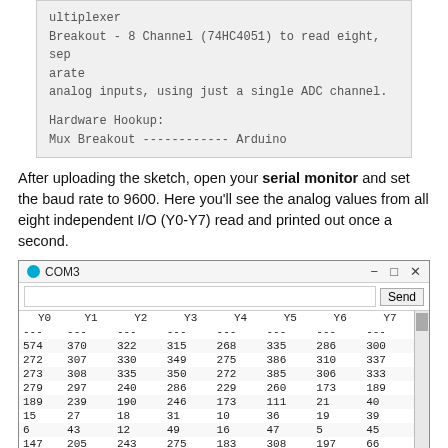ultiplexer
Breakout - 8 Channel (74HC4051) to read eight, separate
analog inputs, using just a single ADC channel.

Hardware Hookup:
Mux Breakout ------------ Arduino
After uploading the sketch, open your serial monitor and set the baud rate to 9600. Here you'll see the analog values from all eight independent I/O (Y0-Y7) read and printed out once a second.
[Figure (screenshot): Arduino Serial Monitor showing COM3 window with columns Y0-Y7 and multiple rows of analog sensor readings.]